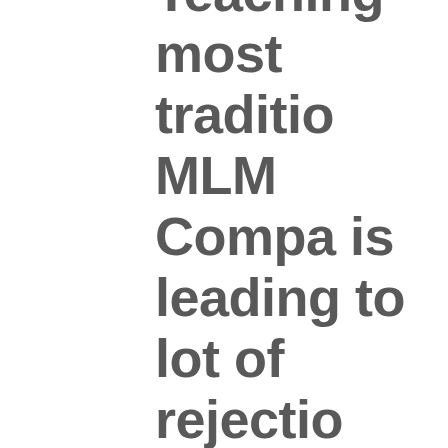Teaching most traditional MLM Company is leading to a lot of rejection wrong expectations, disappointments and frustrations to a lot of new comers. Sad Truth